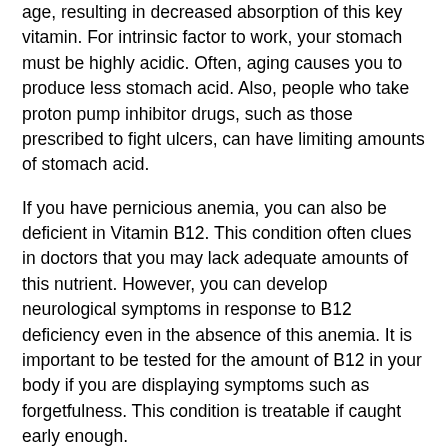age, resulting in decreased absorption of this key vitamin. For intrinsic factor to work, your stomach must be highly acidic. Often, aging causes you to produce less stomach acid. Also, people who take proton pump inhibitor drugs, such as those prescribed to fight ulcers, can have limiting amounts of stomach acid.
If you have pernicious anemia, you can also be deficient in Vitamin B12. This condition often clues in doctors that you may lack adequate amounts of this nutrient. However, you can develop neurological symptoms in response to B12 deficiency even in the absence of this anemia. It is important to be tested for the amount of B12 in your body if you are displaying symptoms such as forgetfulness. This condition is treatable if caught early enough.
B12 deficiency can lead to homocysteine accumulation
One particular way that having low levels of B12 can be damaging is that it can cause your body to have high levels of a compound called homocysteine. Normally, this chemical does not build up in your body. It is used up during a series of chemical reactions resulting in the